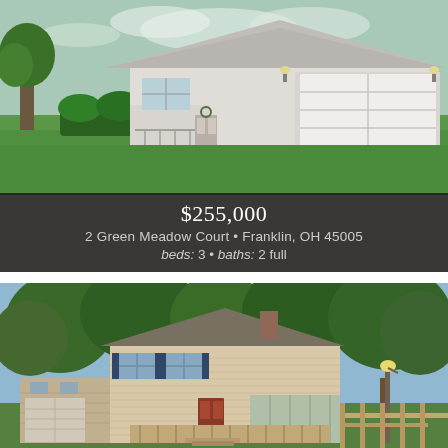[Figure (photo): Exterior photo of a single-story ranch-style home with white/gray siding, two-car garage, green lawn and shrubs]
$255,000
2 Green Meadow Court • Franklin, OH 45005
beds: 3 • baths: 2 full
[Figure (photo): Exterior photo of a two-story split-level home with brick and siding, front deck, surrounded by mature trees]